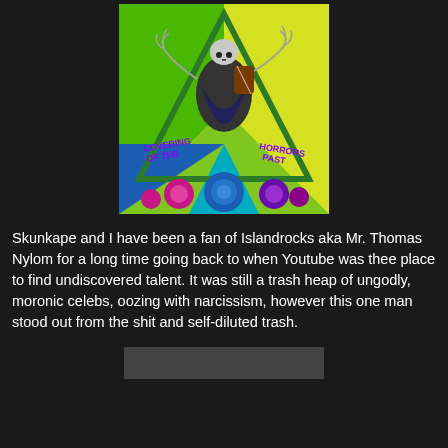[Figure (illustration): Album cover art for 'Covering of the Horrors Past' featuring a grim reaper skeleton playing violin, dressed in black robes with colorful psychedelic background of green, yellow, blue triangles and pink/purple/blue roses at the bottom. Text reads 'COVERING OF THE' on left and 'HORRORS PAST' on right in purple letters.]
Skunkape and I have been a fan of Islandrocks aka Mr. Thomas Nylom for a long time going back to when Youtube was thee place to find undiscovered talent. It was still a trash heap of ungodly, moronic celebs, oozing with narcissism, however this one man stood out from the shit and self-diluted trash.
[Figure (photo): Partially visible image at the bottom of the page, dark/grey toned.]